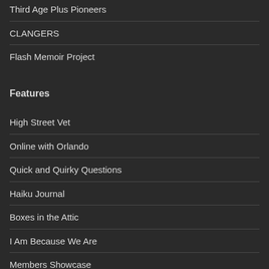Third Age Plus Pioneers
CLANGERS
Flash Memoir Project
Features
High Street Vet
Online with Orlando
Quick and Quirky Questions
Haiku Journal
Boxes in the Attic
I Am Because We Are
Members Showcase